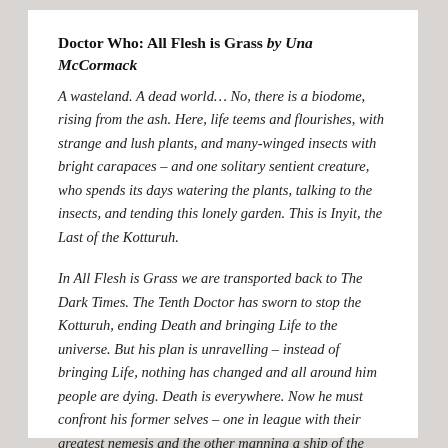Doctor Who: All Flesh is Grass by Una McCormack
A wasteland. A dead world… No, there is a biodome, rising from the ash. Here, life teems and flourishes, with strange and lush plants, and many-winged insects with bright carapaces – and one solitary sentient creature, who spends its days watering the plants, talking to the insects, and tending this lonely garden. This is Inyit, the Last of the Kotturuh.
In All Flesh is Grass we are transported back to The Dark Times. The Tenth Doctor has sworn to stop the Kotturuh, ending Death and bringing Life to the universe. But his plan is unravelling – instead of bringing Life, nothing has changed and all around him people are dying. Death is everywhere. Now he must confront his former selves – one in league with their greatest nemesis and the other manning a ship of the undead…